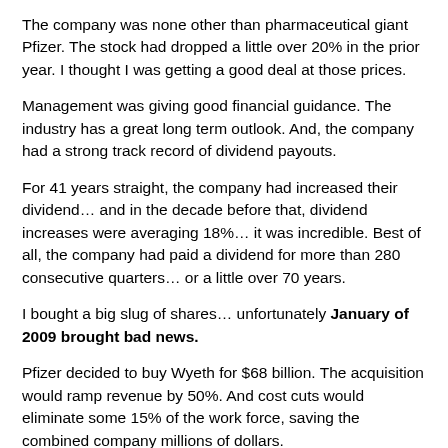The company was none other than pharmaceutical giant Pfizer.  The stock had dropped a little over 20% in the prior year.  I thought I was getting a good deal at those prices.
Management was giving good financial guidance.  The industry has a great long term outlook.  And, the company had a strong track record of dividend payouts.
For 41 years straight, the company had increased their dividend… and in the decade before that, dividend increases were averaging 18%… it was incredible.  Best of all, the company had paid a dividend for more than 280 consecutive quarters… or a little over 70 years.
I bought a big slug of shares… unfortunately January of 2009 brought bad news.
Pfizer decided to buy Wyeth for $68 billion.  The acquisition would ramp revenue by 50%.  And cost cuts would eliminate some 15% of the work force, saving the combined company millions of dollars.
Unfortunately, they also slashed the dividend by 50%… Gone, in a blink of an eye, was my nice fat dividend yield.